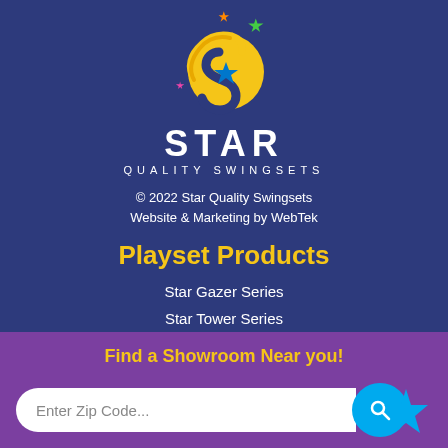[Figure (logo): Star Quality Swingsets logo: yellow S with colorful stars, blue circle with star]
STAR
QUALITY SWINGSETS
© 2022 Star Quality Swingsets
Website & Marketing by WebTek
Playset Products
Star Gazer Series
Star Tower Series
Sky Climber Series
Find a Showroom Near you!
Enter Zip Code...